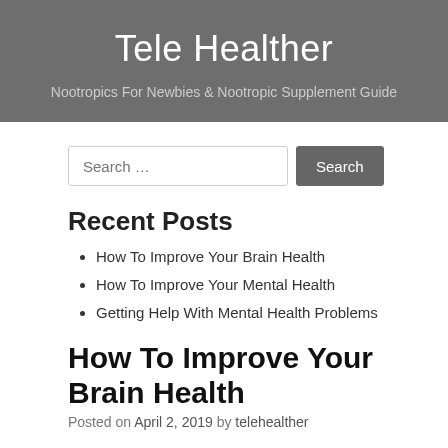Tele Healther
Nootropics For Newbies & Nootropic Supplement Guide
Recent Posts
How To Improve Your Brain Health
How To Improve Your Mental Health
Getting Help With Mental Health Problems
How To Improve Your Brain Health
Posted on April 2, 2019 by telehealther